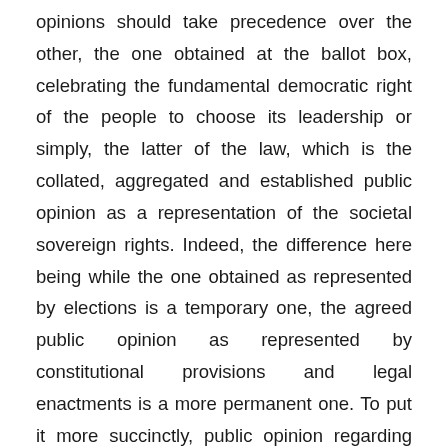opinions should take precedence over the other, the one obtained at the ballot box, celebrating the fundamental democratic right of the people to choose its leadership or simply, the latter of the law, which is the collated, aggregated and established public opinion as a representation of the societal sovereign rights. Indeed, the difference here being while the one obtained as represented by elections is a temporary one, the agreed public opinion as represented by constitutional provisions and legal enactments is a more permanent one. To put it more succinctly, public opinion regarding change of choice vary from election to election, thus, they are mostly driven by whimsical reasons that is usually influenced by petty motivations, such as corrupt